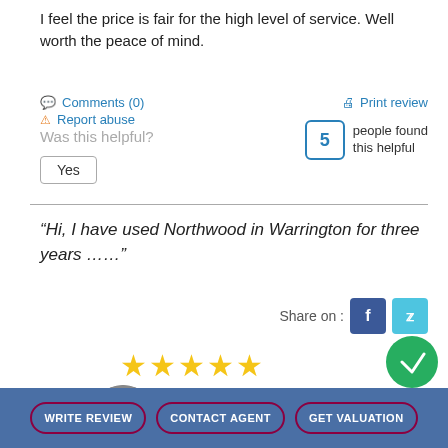I feel the price is fair for the high level of service. Well worth the peace of mind.
Comments (0)
Report abuse
Print review
Was this helpful?
5 people found this helpful
Yes
“Hi, I have used Northwood in Warrington for three years …”
Share on :
[Figure (illustration): Five gold star rating]
[Figure (photo): Circular avatar photo of Sadia in black and white]
Sadia
WRITE REVIEW  CONTACT AGENT  GET VALUATION